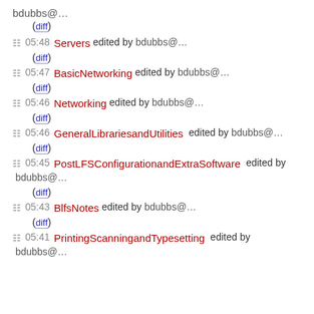bdubbs@… (diff)
05:48 Servers edited by bdubbs@… (diff)
05:47 BasicNetworking edited by bdubbs@… (diff)
05:46 Networking edited by bdubbs@… (diff)
05:46 GeneralLibrariesandUtilities edited by bdubbs@… (diff)
05:45 PostLFSConfigurationandExtraSoftware edited by bdubbs@… (diff)
05:43 BlfsNotes edited by bdubbs@… (diff)
05:41 PrintingScanningandTypesetting edited by bdubbs@…